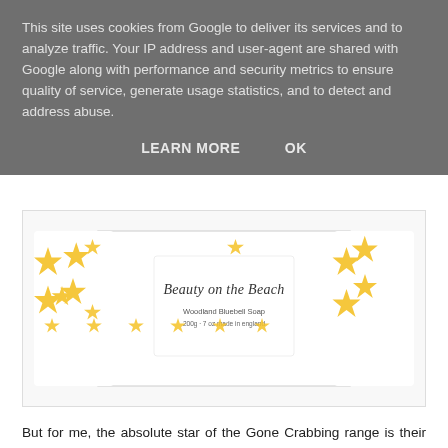This site uses cookies from Google to deliver its services and to analyze traffic. Your IP address and user-agent are shared with Google along with performance and security metrics to ensure quality of service, generate usage statistics, and to detect and address abuse.
LEARN MORE   OK
[Figure (photo): Beauty on the Beach Woodland Bluebell Soap product box wrapped in white paper with yellow starfish pattern. The label reads 'Beauty on the Beach / Woodland Bluebell Soap / 200g / 7 oz made in england'.]
But for me, the absolute star of the Gone Crabbing range is their seaside-themed soaps.  This "Beauty on the Beach" soap (£3.99) comes wrapped in star fish paper and for me it brings back so many memories.  I haven't quite worked out how to broadcast smell through my blog, but if I could, I would.  The woodland bluebell scent mixed with the very